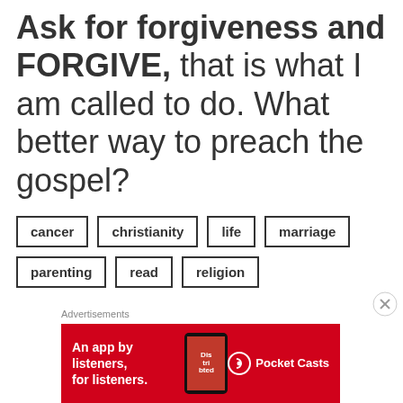Ask for forgiveness and FORGIVE, that is what I am called to do. What better way to preach the gospel?
cancer
christianity
life
marriage
parenting
read
religion
Advertisements
[Figure (screenshot): Pocket Casts advertisement banner: red background with text 'An app by listeners, for listeners.' and Pocket Casts logo with phone graphic showing 'Dis tri buted' text.]